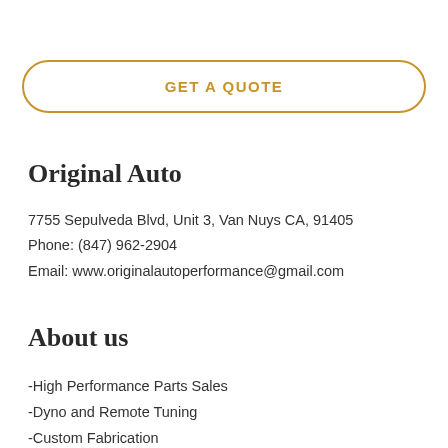GET A QUOTE
Original Auto
7755 Sepulveda Blvd, Unit 3, Van Nuys CA, 91405
Phone: (847) 962-2904
Email: www.originalautoperformance@gmail.com
About us
-High Performance Parts Sales
-Dyno and Remote Tuning
-Custom Fabrication
-JDM Auto Service Center